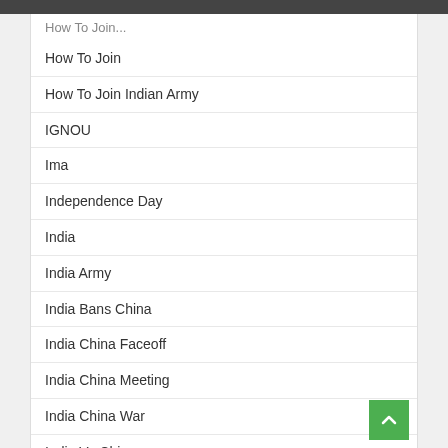How To Join...
How To Join
How To Join Indian Army
IGNOU
Ima
Independence Day
India
India Army
India Bans China
India China Faceoff
India China Meeting
India China War
India Vs China
India Vs Pakistan
India.
Indiachinafaceoff